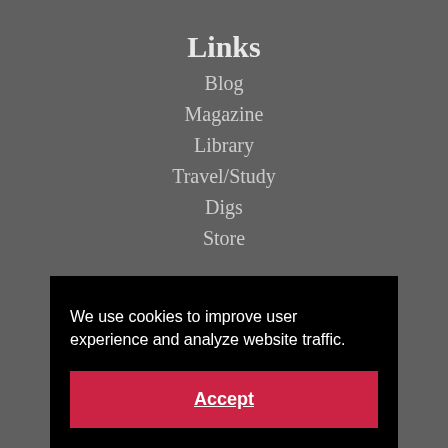Links
Blog
Magazine
Library
Travel/Study
Digs
Store
We use cookies to improve user experience and analyze website traffic.
Accept